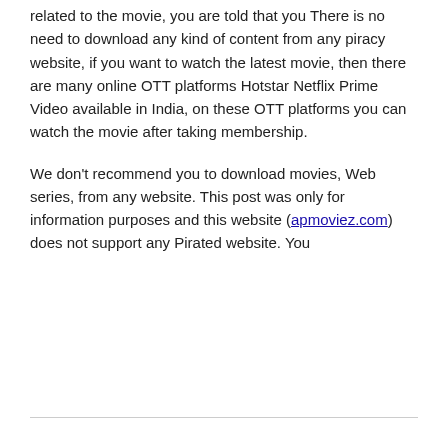related to the movie, you are told that you There is no need to download any kind of content from any piracy website, if you want to watch the latest movie, then there are many online OTT platforms Hotstar Netflix Prime Video available in India, on these OTT platforms you can watch the movie after taking membership.
We don't recommend you to download movies, Web series, from any website. This post was only for information purposes and this website (apmoviez.com) does not support any Pirated website. You